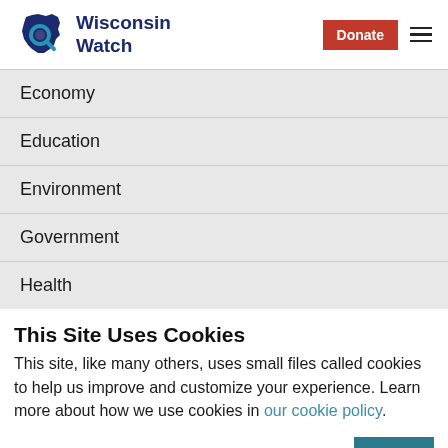Wisconsin Watch
Economy
Education
Environment
Government
Health
This Site Uses Cookies
This site, like many others, uses small files called cookies to help us improve and customize your experience. Learn more about how we use cookies in our cookie policy.